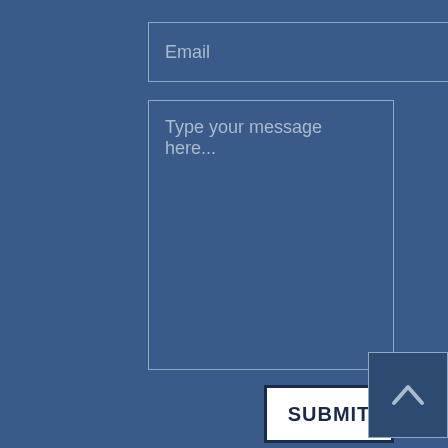Email
Type your message here...
SUBMIT
[Figure (other): Back to top arrow button with upward chevron icon]